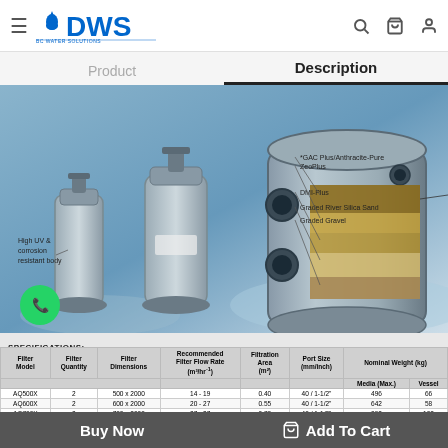DWS - BC Water Solutions
Product | Description
[Figure (engineering-diagram): Industrial water filtration vessels/tanks product photo showing multiple tank sizes and a cross-section diagram with labeled filter media layers: *GAC Plus/Anthracite-Pure, ZeoPlus, DMI-Plus, Graded River Silica Sand, Graded Gravel. Label: High UV & corrosion resistant body.]
SPECIFICATIONS:
| Filter Model | Filter Quantity | Filter Dimensions | Recommended Filter Flow Rate (m³/hr⁻¹) | Filtration Area (m²) | Port Size (mm/inch) | Nominal Weight (kg) - Media (Max.) | Nominal Weight (kg) - Vessel |
| --- | --- | --- | --- | --- | --- | --- | --- |
| AQ500X | 2 | 500 x 2000 | 14 - 19 | 0.40 | 40 / 1-1/2" | 496 | 66 |
| AQ600X | 2 | 600 x 2000 | 20 - 27 | 0.55 | 40 / 1-1/2" | 642 | 58 |
| AQ700X | 2 | 700 x 2000 | 27 - 37 | 0.78 | 40 / 1-1/2" | 892 | 102 |
| AQ600Y | 3 | 600 x 2000 | 30 - 40 | 0.84 | 40 / 1-1/2" | 988 | 147 |
| AQ700Y | 3 | 700 x 2000 | 41 - 55 | 1.14 | 40 / 1-1/2" | 1409 | 153 |
| AQ900X | 2 | 900 x 2070 | 40 - 61 | 1.26 | 50 / 2" | 1559 | 114 |
| AQ700Z | 4 | 700 x 2000 | 55 - 73 | 1.57 | 40 / 1-1/2" | 1784 | 204 |
| AQ900Y | 3 | 900 x 2070 | 60 - 90 | 1.92 | 50 / 2" | 2380 | 171 |
| AQ900Z | 4 | 900 x 2070 | 91 - 121 | 2.56 | 50 / 2" | 3116 | 228 |
| AQ1500Y | 3 | 1550 x 1800 | 217 - 290 | 6.03 | 100 / 4" | 7637 | 990 |